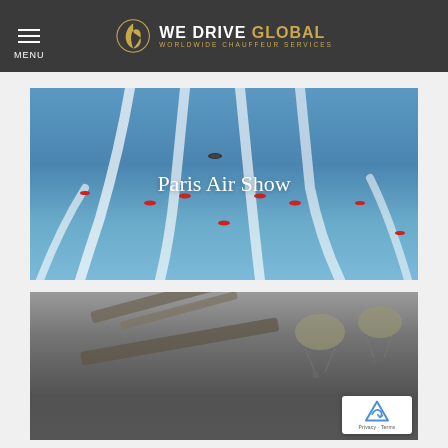WE DRIVE GLOBAL — WORLDWIDE CHAUFFEUR SERVICES
[Figure (photo): Red Arrow jets performing aerobatic display with white contrail smoke trails against a blue sky, with text overlay 'Paris Air Show']
[Figure (photo): Aircraft and parachutes visible against cloudy sky, partial view of second image card]